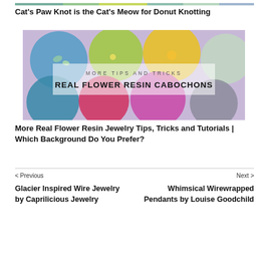[Figure (photo): Partial view of colorful resin cabochons with flowers at top of page]
Cat's Paw Knot is the Cat's Meow for Donut Knotting
[Figure (photo): Real flower resin cabochons with text overlay: MORE TIPS AND TRICKS REAL FLOWER RESIN CABOCHONS]
More Real Flower Resin Jewelry Tips, Tricks and Tutorials | Which Background Do You Prefer?
< Previous
Next >
Glacier Inspired Wire Jewelry by Caprilicious Jewelry
Whimsical Wirewrapped Pendants by Louise Goodchild